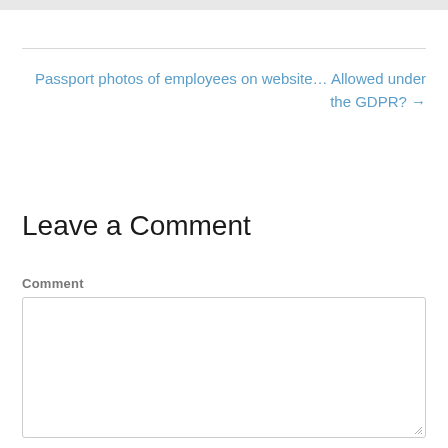Passport photos of employees on website… Allowed under the GDPR? →
Leave a Comment
Comment